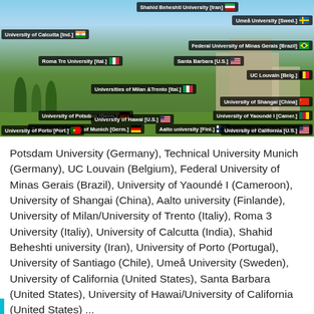[Figure (photo): Campus photo with overlaid university name labels from various countries including Germany, Belgium, Brazil, Cameroon, China, Finland, Italy, India, Iran, Portugal, Chile, Sweden, USA, and others.]
Potsdam University (Germany), Technical University Munich (Germany), UC Louvain (Belgium), Federal University of Minas Gerais (Brazil), University of Yaoundé I (Cameroon), University of Shangai (China), Aalto university (Finlande), University of Milan/University of Trento (Italiy), Roma 3 University (Italiy), University of Calcutta (India), Shahid Beheshti university (Iran), University of Porto (Portugal), University of Santiago (Chile), Umeå University (Sweden), University of California (United States), Santa Barbara (United States), University of Hawai/University of California (United States) ...